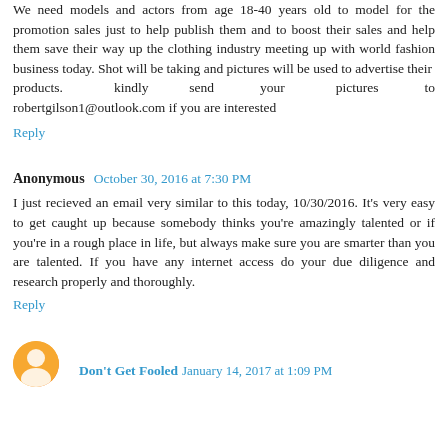We need models and actors from age 18-40 years old to model for the promotion sales just to help publish them and to boost their sales and help them save their way up the clothing industry meeting up with world fashion business today. Shot will be taking and pictures will be used to advertise their products. kindly send your pictures to robertgilson1@outlook.com if you are interested
Reply
Anonymous October 30, 2016 at 7:30 PM
I just recieved an email very similar to this today, 10/30/2016. It's very easy to get caught up because somebody thinks you're amazingly talented or if you're in a rough place in life, but always make sure you are smarter than you are talented. If you have any internet access do your due diligence and research properly and thoroughly.
Reply
Don't Get Fooled January 14, 2017 at 1:09 PM